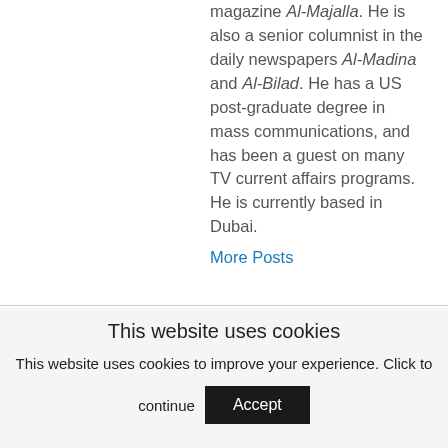magazine Al-Majalla. He is also a senior columnist in the daily newspapers Al-Madina and Al-Bilad. He has a US post-graduate degree in mass communications, and has been a guest on many TV current affairs programs. He is currently based in Dubai.
More Posts
This website uses cookies
This website uses cookies to improve your experience. Click to continue